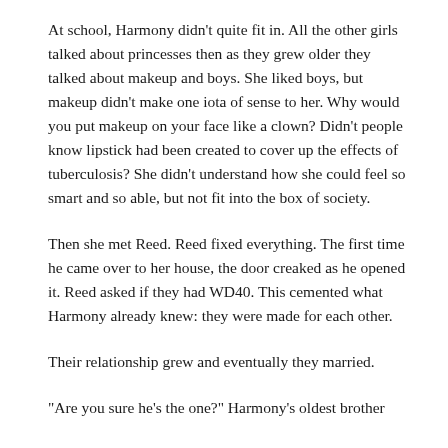At school, Harmony didn't quite fit in. All the other girls talked about princesses then as they grew older they talked about makeup and boys. She liked boys, but makeup didn't make one iota of sense to her. Why would you put makeup on your face like a clown? Didn't people know lipstick had been created to cover up the effects of tuberculosis? She didn't understand how she could feel so smart and so able, but not fit into the box of society.
Then she met Reed. Reed fixed everything. The first time he came over to her house, the door creaked as he opened it. Reed asked if they had WD40. This cemented what Harmony already knew: they were made for each other.
Their relationship grew and eventually they married.
“Are you sure he’s the one?” Harmony’s oldest brother